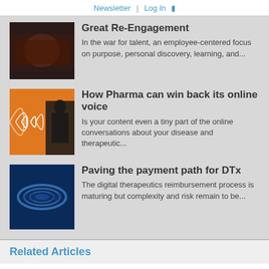Newsletter | Log In
Great Re-Engagement
In the war for talent, an employee-centered focus on purpose, personal discovery, learning, and...
[Figure (photo): Dark thumbnail image for Great Re-Engagement article]
How Pharma can win back its online voice
Is your content even a tiny part of the online conversations about your disease and therapeutic...
[Figure (illustration): Orange background with sound wave and silhouette illustration for pharma article]
Paving the payment path for DTx
The digital therapeutics reimbursement process is maturing but complexity and risk remain to be...
[Figure (photo): Dark blue microscopic/scientific image for DTx article]
Related Articles